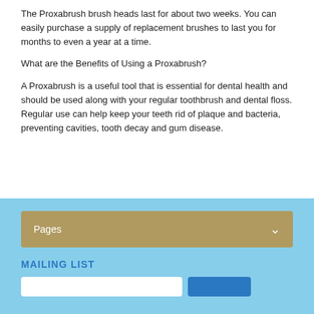The Proxabrush brush heads last for about two weeks. You can easily purchase a supply of replacement brushes to last you for months to even a year at a time.
What are the Benefits of Using a Proxabrush?
A Proxabrush is a useful tool that is essential for dental health and should be used along with your regular toothbrush and dental floss. Regular use can help keep your teeth rid of plaque and bacteria, preventing cavities, tooth decay and gum disease.
Pages
MAILING LIST